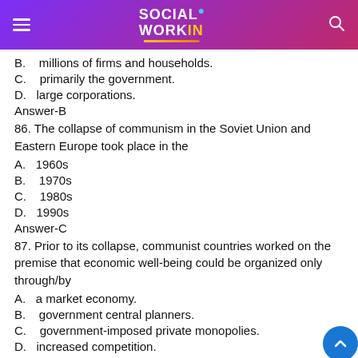SOCIAL WORKIN
B.    millions of firms and households.
C.    primarily the government.
D.    large corporations.
Answer-B
86. The collapse of communism in the Soviet Union and Eastern Europe took place in the
A.   1960s
B.    1970s
C.    1980s
D.   1990s
Answer-C
87. Prior to its collapse, communist countries worked on the premise that economic well-being could be organized only through/by
A.   a market economy.
B.    government central planners.
C.    government-imposed private monopolies.
D.   increased competition.